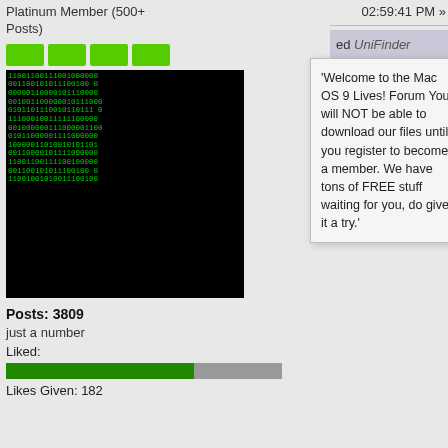Platinum Member (500+ Posts)
02:59:41 PM »
[Figure (screenshot): Green pixel rank bars (4 bars)]
[Figure (illustration): Binary code avatar image with green text on black background]
Posts: 3809
just a number
Liked:
[Figure (other): Likes progress bar, green and gray segments]
Likes Given: 182
'Welcome to the Mac OS 9 Lives! Forum You will NOT be able to download our files until you register to become a member. We have tons of FREE stuff waiting for you, do give it a try.'
All Unicode classes start with Uni (U...
like
insert arbitrary signature here
lIO
Platinum Member (500+ Posts)
[Figure (screenshot): Green pixel rank bars (5 bars)]
[Figure (illustration): Binary code avatar image with green text on black background]
Re: Designing a new Finder
« Reply #60 on: November 18, 2016, 03:03:04 PM »
Quote from: OS923 on November 03, 2016, 07:...
Then the 2 Finders can be running a... Just a theory.